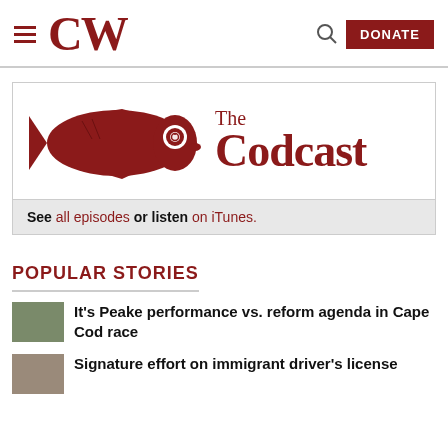CW  DONATE
[Figure (illustration): The Codcast logo: a red cod fish with headphone icon, with 'The Codcast' text in red serif font]
See all episodes or listen on iTunes.
POPULAR STORIES
It's Peake performance vs. reform agenda in Cape Cod race
Signature effort on immigrant driver's license